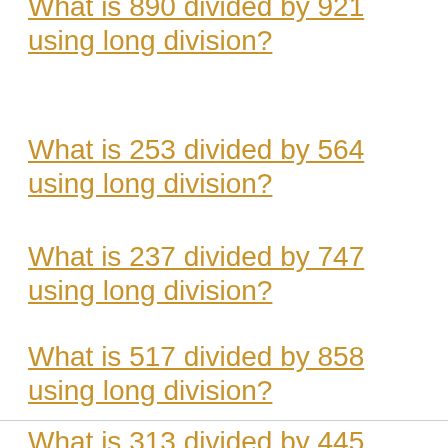What is 890 divided by 921 using long division?
What is 253 divided by 564 using long division?
What is 237 divided by 747 using long division?
What is 517 divided by 858 using long division?
What is 313 divided by 445 using long division?